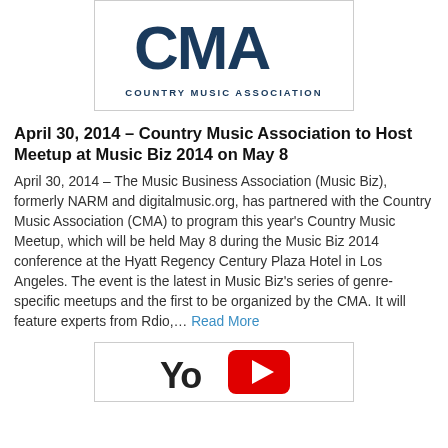[Figure (logo): CMA Country Music Association logo — bold dark blue letters 'CMA' with text 'COUNTRY MUSIC ASSOCIATION' below, inside a bordered box]
April 30, 2014 – Country Music Association to Host Meetup at Music Biz 2014 on May 8
April 30, 2014 – The Music Business Association (Music Biz), formerly NARM and digitalmusic.org, has partnered with the Country Music Association (CMA) to program this year's Country Music Meetup, which will be held May 8 during the Music Biz 2014 conference at the Hyatt Regency Century Plaza Hotel in Los Angeles. The event is the latest in Music Biz's series of genre-specific meetups and the first to be organized by the CMA. It will feature experts from Rdio,… Read More
[Figure (logo): Partial YouTube logo — red rectangle with white play icon and dark 'You' text, partially visible at bottom of page]